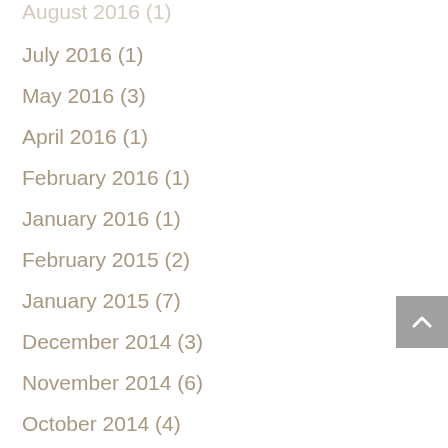August 2016 (1)
July 2016 (1)
May 2016 (3)
April 2016 (1)
February 2016 (1)
January 2016 (1)
February 2015 (2)
January 2015 (7)
December 2014 (3)
November 2014 (6)
October 2014 (4)
September 2014 (2)
August 2014 (4)
July 2014 (4)